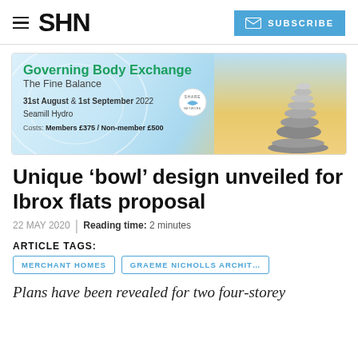SHN | SUBSCRIBE
[Figure (illustration): Banner advertisement for Governing Body Exchange – The Fine Balance conference, 31st August & 1st September 2022 at Seamill Hydro. Costs: Members £375 / Non-member £500. Features stacked stones image and SHARE logo.]
Unique ‘bowl’ design unveiled for Ibrox flats proposal
22 MAY 2020 | Reading time: 2 minutes
ARTICLE TAGS:
MERCHANT HOMES
GRAEME NICHOLLS ARCHIT…
Plans have been revealed for two four-storey